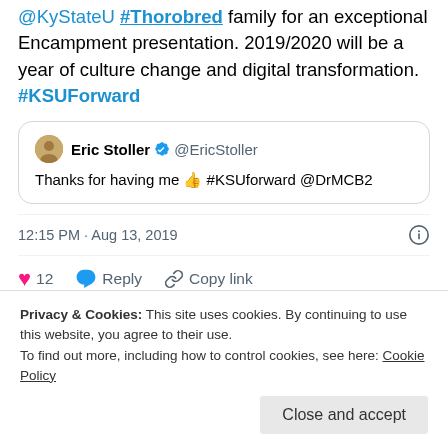@KyStateU #Thorobred family for an exceptional Encampment presentation. 2019/2020 will be a year of culture change and digital transformation. #KSUForward
[Figure (screenshot): Quoted tweet from Eric Stoller (@EricStoller) with verified badge. Text: Thanks for having me 👍 #KSUforward @DrMCB2]
12:15 PM · Aug 13, 2019
❤ 12  Reply  Copy link
Explore what's happening on Twitter
Privacy & Cookies: This site uses cookies. By continuing to use this website, you agree to their use.
To find out more, including how to control cookies, see here: Cookie Policy
Close and accept